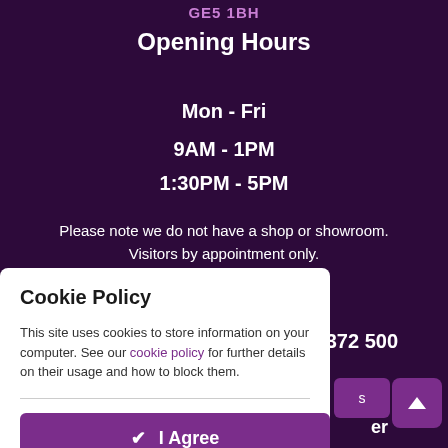GE5 1BH
Opening Hours
Mon - Fri
9AM - 1PM
1:30PM - 5PM
Please note we do not have a shop or showroom. Visitors by appointment only.
372 500
Cookie Policy
This site uses cookies to store information on your computer. See our cookie policy for further details on their usage and how to block them.
I Agree